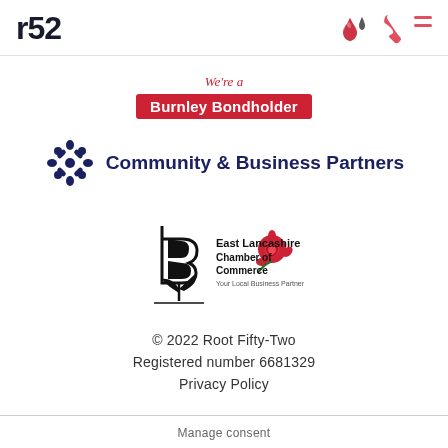[Figure (logo): r52 logo - bold dark text in top left header]
[Figure (illustration): Navigation icons: water drop, phone, and hamburger menu in coral/red color]
We're a
Burnley Bondholder
[Figure (logo): Community & Business Partners logo with blue star/people icon]
[Figure (logo): East Lancashire Chamber of Commerce logo with rose illustration]
© 2022 Root Fifty-Two
Registered number 6681329
Privacy Policy
Manage consent